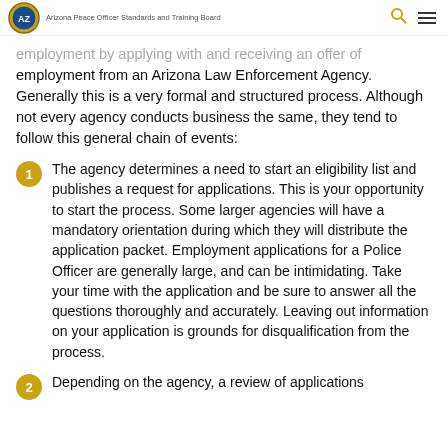Arizona Peace Officer Standards and Training Board
employment from an Arizona Law Enforcement Agency. Generally this is a very formal and structured process. Although not every agency conducts business the same, they tend to follow this general chain of events:
The agency determines a need to start an eligibility list and publishes a request for applications. This is your opportunity to start the process. Some larger agencies will have a mandatory orientation during which they will distribute the application packet. Employment applications for a Police Officer are generally large, and can be intimidating. Take your time with the application and be sure to answer all the questions thoroughly and accurately. Leaving out information on your application is grounds for disqualification from the process.
Depending on the agency, a review of applications